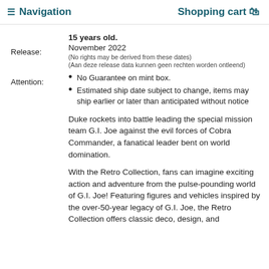≡ Navigation   Shopping cart 🛒
15 years old.
November 2022
(No rights may be derived from these dates)
(Aan deze release data kunnen geen rechten worden ontleend)
No Guarantee on mint box.
Estimated ship date subject to change, items may ship earlier or later than anticipated without notice
Duke rockets into battle leading the special mission team G.I. Joe against the evil forces of Cobra Commander, a fanatical leader bent on world domination.
With the Retro Collection, fans can imagine exciting action and adventure from the pulse-pounding world of G.I. Joe! Featuring figures and vehicles inspired by the over-50-year legacy of G.I. Joe, the Retro Collection offers classic deco, design, and